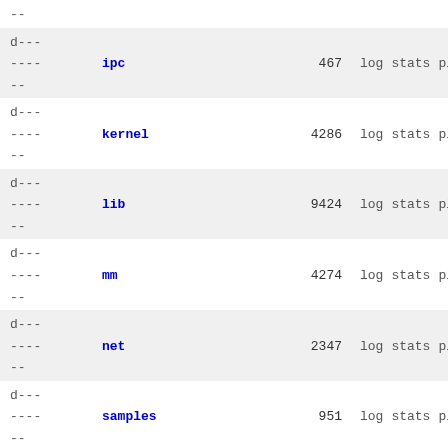-- d---- ---- ipc 467 log stats plain --
d---- ---- kernel 4286 log stats plain --
d---- ---- lib 9424 log stats plain --
d---- ---- mm 4274 log stats plain --
d---- ---- net 2347 log stats plain --
d---- ---- samples 951 log stats plain --
d---- ---- scripts 4761 log stats plain --
d---- ---- security 569 log stats plain --